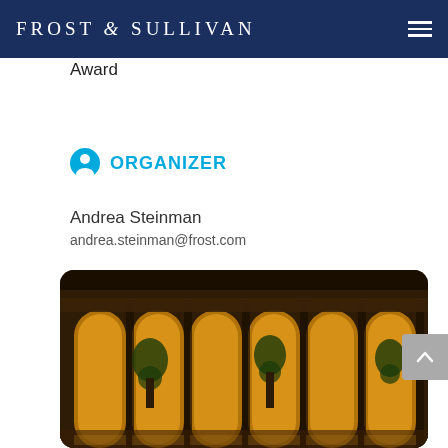FROST & SULLIVAN
Award
ORGANIZER
Andrea Steinman
andrea.steinman@frost.com
[Figure (photo): Nighttime exterior photo of an elegant building with large arched glass windows illuminated from within, showing warm golden light, ornate architectural details, and indoor plants visible through the glass facade.]